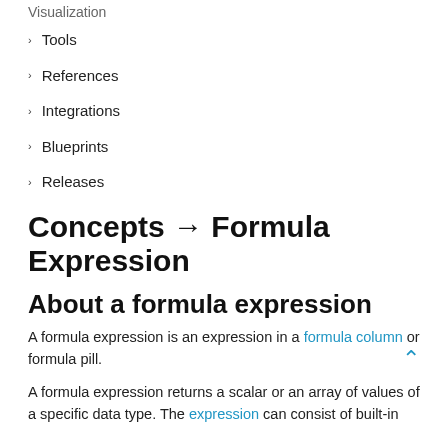Visualization
Tools
References
Integrations
Blueprints
Releases
Concepts → Formula Expression
About a formula expression
A formula expression is an expression in a formula column or formula pill.
A formula expression returns a scalar or an array of values of a specific data type. The expression can consist of built-in